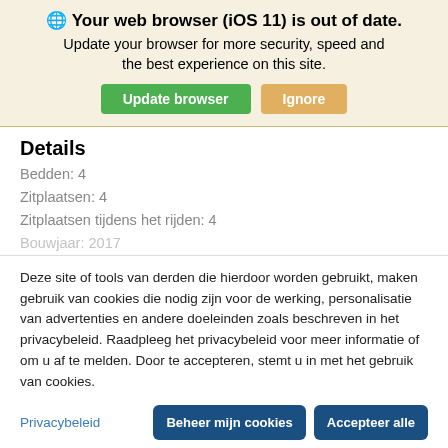🌐 Your web browser (iOS 11) is out of date. Update your browser for more security, speed and the best experience on this site. Update browser | Ignore
Details
Bedden:  4
Zitplaatsen:  4
Zitplaatsen tijdens het rijden:  4
Bouwjaar: 2017
Deze site of tools van derden die hierdoor worden gebruikt, maken gebruik van cookies die nodig zijn voor de werking, personalisatie van advertenties en andere doeleinden zoals beschreven in het privacybeleid. Raadpleeg het privacybeleid voor meer informatie of om u af te melden. Door te accepteren, stemt u in met het gebruik van cookies.
Privacybeleid
Beheer mijn cookies
Accepteer alle